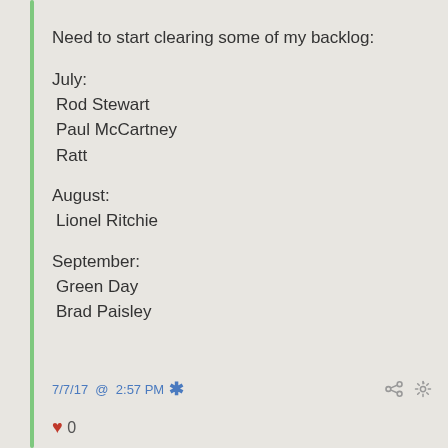Need to start clearing some of my backlog:
July:
Rod Stewart
Paul McCartney
Ratt
August:
Lionel Ritchie
September:
Green Day
Brad Paisley
7/7/17 @ 2:57 PM * ♥ 0